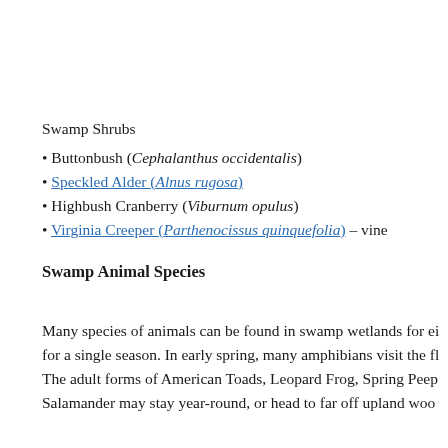Swamp Shrubs
• Buttonbush (Cephalanthus occidentalis)
• Speckled Alder (Alnus rugosa)
• Highbush Cranberry (Viburnum opulus)
• Virginia Creeper (Parthenocissus quinquefolia) – vine
Swamp Animal Species
Many species of animals can be found in swamp wetlands for ei for a single season. In early spring, many amphibians visit the fl The adult forms of American Toads, Leopard Frog, Spring Peep Salamander may stay year-round, or head to far off upland woo